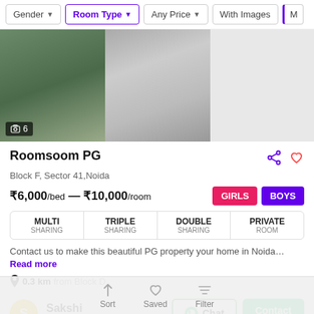Gender | Room Type | Any Price | With Images | M...
[Figure (photo): Blurred interior photos of PG accommodation, two panels visible. Image count badge showing 6. Three dot pagination indicators visible. Right panel is grey placeholder.]
Roomsoom PG
Block F, Sector 41,Noida
₹6,000/bed — ₹10,000/room
GIRLS   BOYS
| MULTI SHARING | TRIPLE SHARING | DOUBLE SHARING | PRIVATE ROOM |
| --- | --- | --- | --- |
Contact us to make this beautiful PG property your home in Noida… Read more
0.3 km from Block D
Sakshi
Caretaker
Chat   Contact